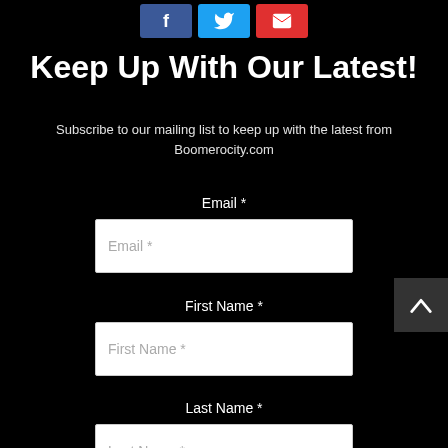[Figure (other): Social media icon buttons: Facebook (blue), Twitter (light blue), Email (red)]
Keep Up With Our Latest!
Subscribe to our mailing list to keep up with the latest from Boomerocity.com
Email *
First Name *
Last Name *
Subscribe
Boomerocity.com respects your privacy and will not sell your